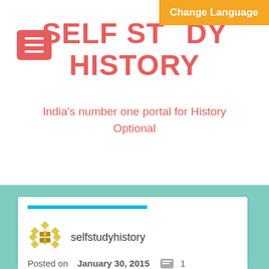Change Language
SELF STUDY HISTORY
India's number one portal for History Optional
SELFSTUDYHISTORY.COM
Simon Commission
selfstudyhistory
Posted on January 30, 2015  1